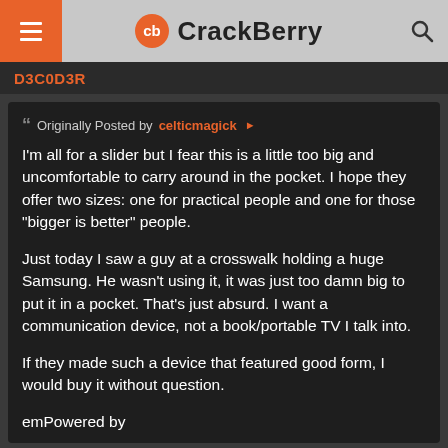CrackBerry
D3C0D3R
Originally Posted by celticmagick

I'm all for a slider but I fear this is a little too big and uncomfortable to carry around in the pocket. I hope they offer two sizes: one for practical people and one for those "bigger is better" people.

Just today I saw a guy at a crosswalk holding a huge Samsung. He wasn't using it, it was just too damn big to put it in a pocket. That's just absurd. I want a communication device, not a book/portable TV I talk into.

If they made such a device that featured good form, I would buy it without question.

emPowered by